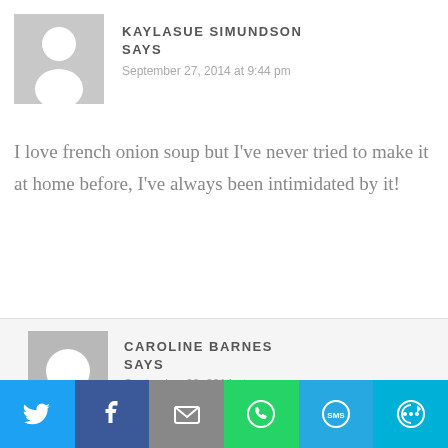[Figure (illustration): Default user avatar placeholder (grey square with white silhouette) for Kaylasue Simundson]
KAYLASUE SIMUNDSON SAYS
September 27, 2014 at 9:44 pm
I love french onion soup but I've never tried to make it at home before, I've always been intimidated by it!
[Figure (illustration): Default user avatar placeholder (grey square with white circle) for Caroline Barnes]
CAROLINE BARNES SAYS
September 28, 2014 at
[Figure (infographic): Social sharing bar with Twitter, Facebook, Email, WhatsApp, SMS, and More buttons]